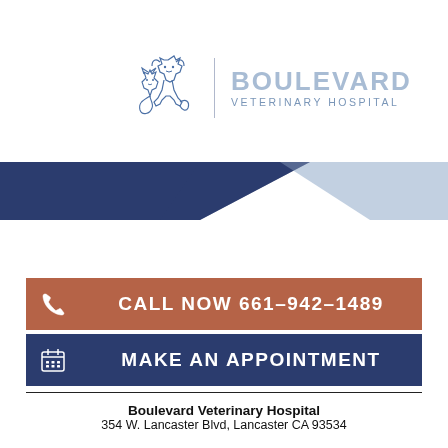[Figure (logo): Boulevard Veterinary Hospital logo with cat and dog silhouette illustration and text]
[Figure (illustration): Decorative diagonal band with dark navy and light blue geometric chevron shapes]
CALL NOW 661-942-1489
MAKE AN APPOINTMENT
Boulevard Veterinary Hospital
354 W. Lancaster Blvd, Lancaster CA 93534